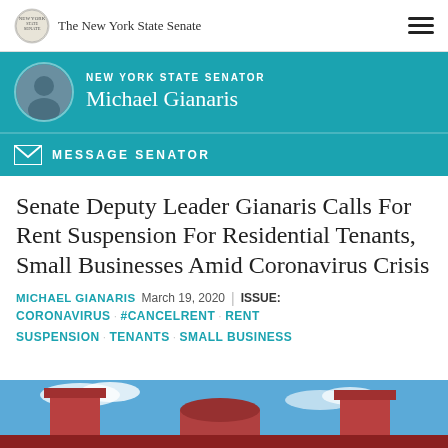The New York State Senate
NEW YORK STATE SENATOR Michael Gianaris
MESSAGE SENATOR
Senate Deputy Leader Gianaris Calls For Rent Suspension For Residential Tenants, Small Businesses Amid Coronavirus Crisis
MICHAEL GIANARIS   March 19, 2020   ISSUE:  CORONAVIRUS  #CANCELRENT  RENT SUSPENSION  TENANTS  SMALL BUSINESS
[Figure (photo): Exterior photo of a building with red brick towers against a blue sky, partially visible at bottom of page]